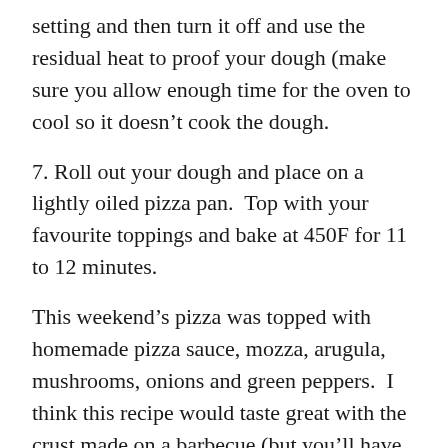setting and then turn it off and use the residual heat to proof your dough (make sure you allow enough time for the oven to cool so it doesn't cook the dough.
7. Roll out your dough and place on a lightly oiled pizza pan.  Top with your favourite toppings and bake at 450F for 11 to 12 minutes.
This weekend's pizza was topped with homemade pizza sauce, mozza, arugula, mushrooms, onions and green peppers.  I think this recipe would taste great with the crust made on a barbecue (but you'll have to try it for yourself and let me know how it goes).